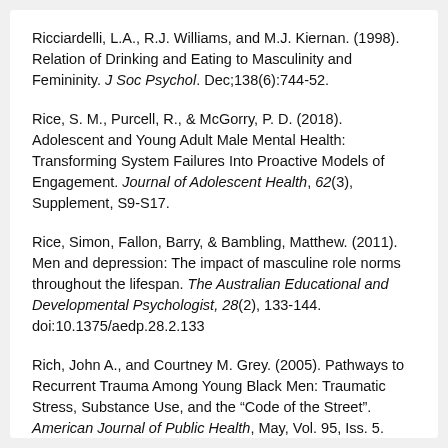Ricciardelli, L.A., R.J. Williams, and M.J. Kiernan. (1998). Relation of Drinking and Eating to Masculinity and Femininity. J Soc Psychol. Dec;138(6):744-52.
Rice, S. M., Purcell, R., & McGorry, P. D. (2018). Adolescent and Young Adult Male Mental Health: Transforming System Failures Into Proactive Models of Engagement. Journal of Adolescent Health, 62(3), Supplement, S9-S17.
Rice, Simon, Fallon, Barry, & Bambling, Matthew. (2011). Men and depression: The impact of masculine role norms throughout the lifespan. The Australian Educational and Developmental Psychologist, 28(2), 133-144. doi:10.1375/aedp.28.2.133
Rich, John A., and Courtney M. Grey. (2005). Pathways to Recurrent Trauma Among Young Black Men: Traumatic Stress, Substance Use, and the “Code of the Street”. American Journal of Public Health, May, Vol. 95, Iss. 5.